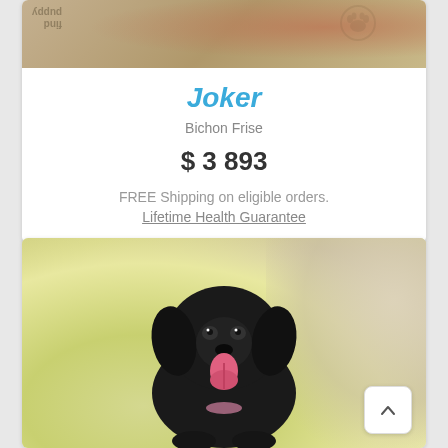[Figure (photo): Partial view of a dog photo with a logo watermark showing 'find puppy' text and a paw print graphic, beige/brown tones]
Joker
Bichon Frise
$ 3 893
FREE Shipping on eligible orders.
Lifetime Health Guarantee
[Figure (photo): A black puppy (Cocker Spaniel type) sitting on a cream-colored blanket with yellow-green bokeh background, tongue out, looking at camera]